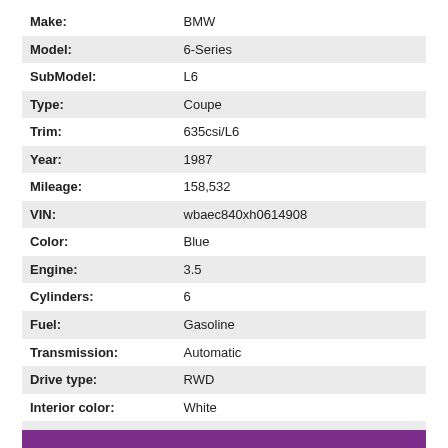| Field | Value |
| --- | --- |
| Make: | BMW |
| Model: | 6-Series |
| SubModel: | L6 |
| Type: | Coupe |
| Trim: | 635csi/L6 |
| Year: | 1987 |
| Mileage: | 158,532 |
| VIN: | wbaec840xh0614908 |
| Color: | Blue |
| Engine: | 3.5 |
| Cylinders: | 6 |
| Fuel: | Gasoline |
| Transmission: | Automatic |
| Drive type: | RWD |
| Interior color: | White |
| Drive side: | Left-hand drive |
| Vehicle Title: | Clear |
| Item location: | Greenbrier, Tennessee, United States |